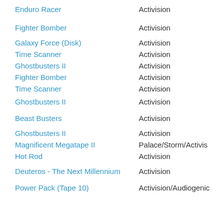| Game | Publisher |
| --- | --- |
| Enduro Racer | Activision |
| Fighter Bomber | Activision |
| Galaxy Force (Disk) | Activision |
| Time Scanner | Activision |
| Ghostbusters II | Activision |
| Fighter Bomber | Activision |
| Time Scanner | Activision |
| Ghostbusters II | Activision |
| Beast Busters | Activision |
| Ghostbusters II | Activision |
| Magnificent Megatape II | Palace/Storm/Activis... |
| Hot Rod | Activision |
| Deuteros - The Next Millennium | Activision |
| Power Pack (Tape 10) | Activision/Audiogenic... |